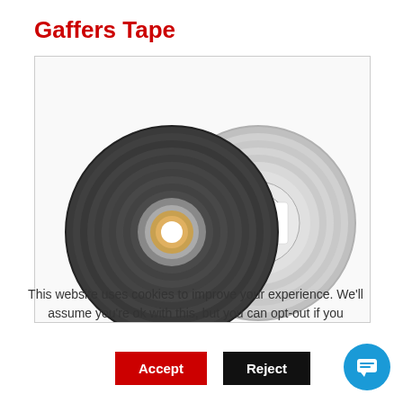Gaffers Tape
[Figure (photo): Two rolls of gaffers tape side by side — one dark gray/black roll in front on the left, and one silver/light gray roll behind on the right. Both are shown from the front, revealing the cardboard core. The silver roll has a visible label.]
This website uses cookies to improve your experience. We'll assume you're ok with this, but you can opt-out if you
Accept
Reject